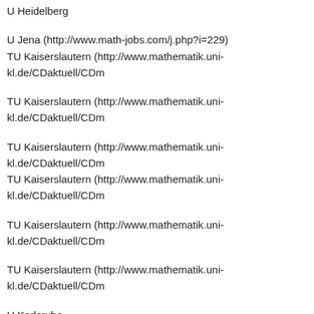U Heidelberg
U Jena (http://www.math-jobs.com/j.php?i=229)
TU Kaiserslautern (http://www.mathematik.uni-kl.de/CDaktuell/CDm
TU Kaiserslautern (http://www.mathematik.uni-kl.de/CDaktuell/CDm
TU Kaiserslautern (http://www.mathematik.uni-kl.de/CDaktuell/CDm
TU Kaiserslautern (http://www.mathematik.uni-kl.de/CDaktuell/CDm
TU Kaiserslautern (http://www.mathematik.uni-kl.de/CDaktuell/CDm
TU Kaiserslautern (http://www.mathematik.uni-kl.de/CDaktuell/CDm
U Karlsruhe
U Karlsruhe
U Kiel
U Leipzig (http://www.math-jobs.com/j.php?i=695)
U Magdeburg
U Mannheim (http://wwwmath.uni-muenster.de/HotNews/zeige_anla
U Marburg